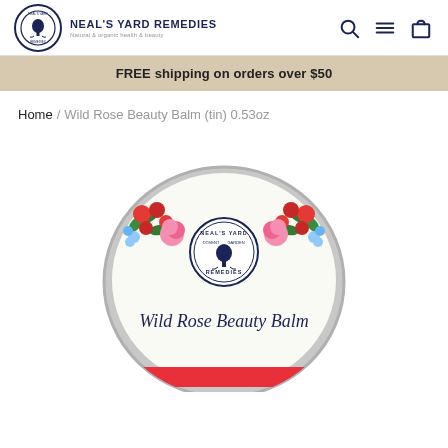[Figure (logo): Neal's Yard Remedies logo circle with tree icon and brand name]
NEAL'S YARD REMEDIES — Natural & organic health & beauty
FREE shipping on orders over $50
Home / Wild Rose Beauty Balm (tin) 0.53oz
[Figure (photo): Top-down view of Wild Rose Beauty Balm tin with floral design and Neal's Yard Remedies logo on lid, cursive text reading 'Wild Rose Beauty Balm']